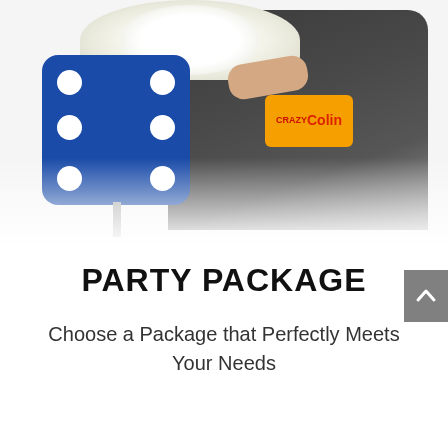[Figure (photo): A person in a black t-shirt with 'Crazy Colin' logo holding a white fluffy dog on top of a large blue dice prop against a white background]
PARTY PACKAGE
Choose a Package that Perfectly Meets Your Needs